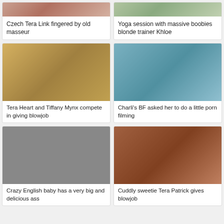[Figure (photo): Thumbnail image for video card 1]
Czech Tera Link fingered by old masseur
[Figure (photo): Thumbnail image for video card 2]
Yoga session with massive boobies blonde trainer Khloe
[Figure (photo): Thumbnail image for video card 3]
Tera Heart and Tiffany Mynx compete in giving blowjob
[Figure (photo): Thumbnail image for video card 4]
Charli's BF asked her to do a little porn filming
[Figure (photo): Thumbnail image for video card 5]
Crazy English baby has a very big and delicious ass
[Figure (photo): Thumbnail image for video card 6]
Cuddly sweetie Tera Patrick gives blowjob